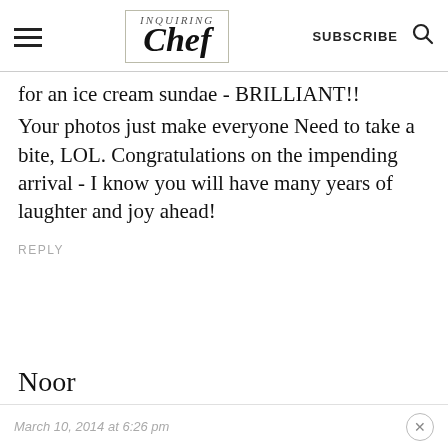Inquiring Chef | SUBSCRIBE
for an ice cream sundae - BRILLIANT!! Your photos just make everyone Need to take a bite, LOL. Congratulations on the impending arrival - I know you will have many years of laughter and joy ahead!
REPLY
Noor
March 10, 2014 at 6:26 pm